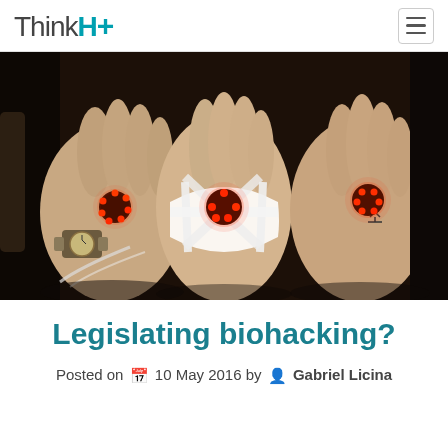ThinkH+
[Figure (photo): Three hands shown side by side, each with a glowing red LED implant or device attached to the back of the hand. The middle hand has a white bandage/tape holding the device. The rightmost hand shows visible stitches. Dark background.]
Legislating biohacking?
Posted on 10 May 2016 by Gabriel Licina